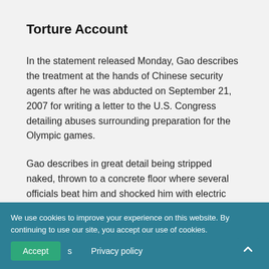Torture Account
In the statement released Monday, Gao describes the treatment at the hands of Chinese security agents after he was abducted on September 21, 2007 for writing a letter to the U.S. Congress detailing abuses surrounding preparation for the Olympic games.
Gao describes in great detail being stripped naked, thrown to a concrete floor where several officials beat him and shocked him with electric batons all over his body, including on his genitals and in his mouth, while torturers pierced his genitals with sharp objects. During sessions repeatedly linked his treatment to that of Falun Gong, whose